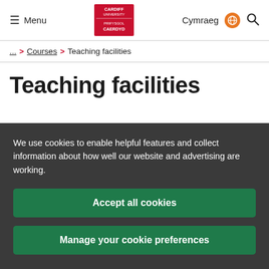Menu | Cardiff University | Cymraeg | Search
... > Courses > Teaching facilities
Teaching facilities
We use cookies to enable helpful features and collect information about how well our website and advertising are working.
Accept all cookies
Manage your cookie preferences